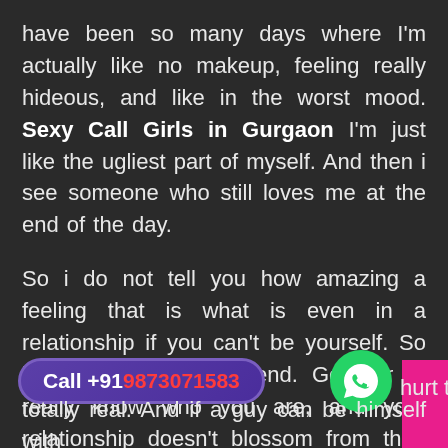have been so many days where I'm actually like no makeup, feeling really hideous, and like in the worst mood. Sexy Call Girls in Gurgaon I'm just like the ugliest part of myself. And then i see someone who still loves me at the end of the day.
So i do not tell you how amazing a feeling that is what is even in a relationship if you can't be yourself. So be yourself be her friend. Get her to really know who you are, and your relationship doesn't blossom from that. At least you have a nice friendship, some really do hurt to be totally real. And if a guy can be himself with
[Figure (infographic): Call button with purple rounded rectangle showing 'Call +919873071583' in white and red text, WhatsApp green circle icon, and pink block in bottom right corner]